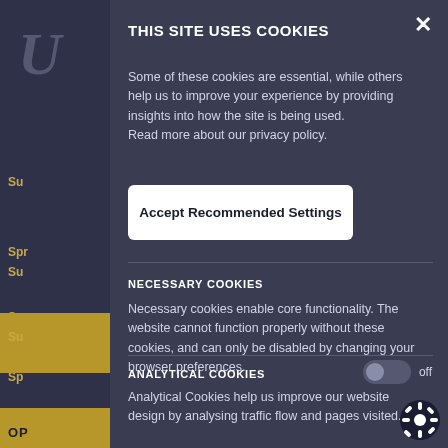THIS SITE USES COOKIES
Some of these cookies are essential, while others help us to improve your experience by providing insights into how the site is being used.
Read more about our privacy policy.
Accept Recommended Settings
NECESSARY COOKIES
Necessary cookies enable core functionality. The website cannot function properly without these cookies, and can only be disabled by changing your browser preferences.
ANALYTICAL COOKIES
Analytical Cookies help us improve our website design by analysing traffic flow and pages visited.